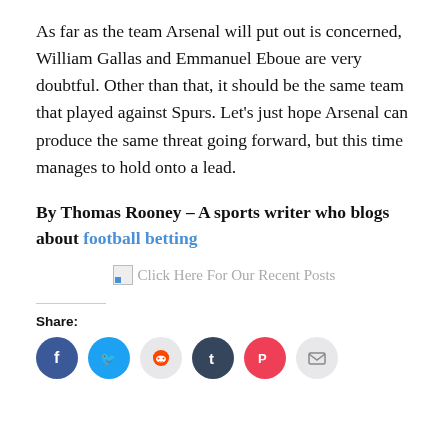As far as the team Arsenal will put out is concerned, William Gallas and Emmanuel Eboue are very doubtful. Other than that, it should be the same team that played against Spurs. Let's just hope Arsenal can produce the same threat going forward, but this time manages to hold onto a lead.
By Thomas Rooney – A sports writer who blogs about football betting
[Figure (other): Click Here For Our Recent Posts banner with broken image icon placeholder]
Share:
[Figure (infographic): Row of social share icons: Facebook (blue circle), Twitter (blue circle), Reddit (light grey circle), Tumblr (dark navy circle), Pocket (red circle), Email (light grey circle)]